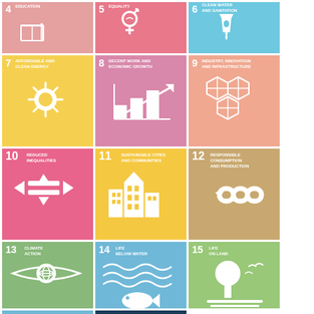[Figure (infographic): UN Sustainable Development Goals icons grid showing goals 4-17]
4 EDUCATION
5 EQUALITY
6 CLEAN WATER AND SANITATION
7 AFFORDABLE AND CLEAN ENERGY
8 DECENT WORK AND ECONOMIC GROWTH
9 INDUSTRY, INNOVATION AND INFRASTRUCTURE
10 REDUCED INEQUALITIES
11 SUSTAINABLE CITIES AND COMMUNITIES
12 RESPONSIBLE CONSUMPTION AND PRODUCTION
13 CLIMATE ACTION
14 LIFE BELOW WATER
15 LIFE ON LAND
16 PEACE, JUSTICE AND STRONG INSTITUTIONS
17 PARTNERSHIPS FOR THE GOALS